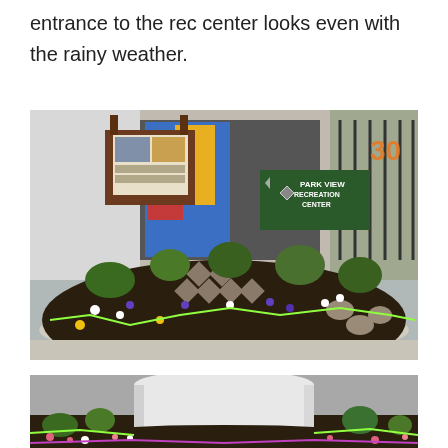entrance to the rec center looks even with the rainy weather.
[Figure (photo): Outdoor garden bed at the entrance of Park View Recreation Center. A curved concrete planter filled with dark mulch, colorful flowers (white, purple, yellow), green plants, and stepping stones arranged in a diamond pattern. A bulletin board and the Park View Recreation Center sign are visible in the background along with a gate with colorful murals.]
[Figure (photo): Close-up view of a circular white concrete pillar or planter base surrounded by a flower garden with pink and white flowers, green plants, and neon green rope border markers on a paved surface.]